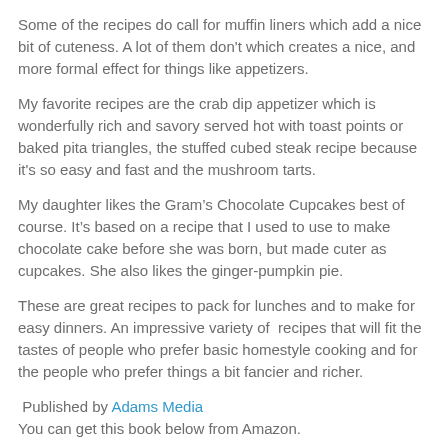Some of the recipes do call for muffin liners which add a nice bit of cuteness. A lot of them don't which creates a nice, and more formal effect for things like appetizers.
My favorite recipes are the crab dip appetizer which is wonderfully rich and savory served hot with toast points or baked pita triangles, the stuffed cubed steak recipe because it's so easy and fast and the mushroom tarts.
My daughter likes the Gram’s Chocolate Cupcakes best of course. It’s based on a recipe that I used to use to make chocolate cake before she was born, but made cuter as cupcakes. She also likes the ginger-pumpkin pie.
These are great recipes to pack for lunches and to make for easy dinners. An impressive variety of  recipes that will fit the tastes of people who prefer basic homestyle cooking and for the people who prefer things a bit fancier and richer.
Published by Adams Media
You can get this book below from Amazon.